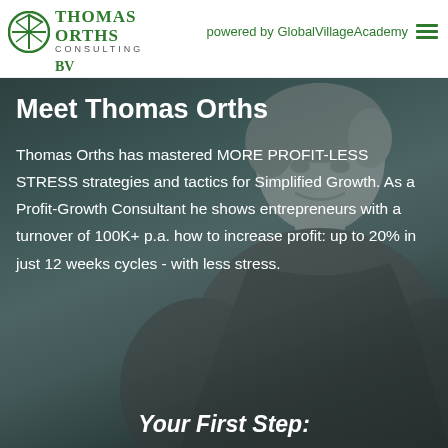Thomas Orths Consulting BV powered by GlobalVillageAcademy
Meet Thomas Orths
Thomas Orths has mastered MORE PROFIT-LESS STRESS strategies and tactics for Simplified Growth. As a Profit-Growth Consultant he shows entrepreneurs with a turnover of 100K+ p.a. how to increase profit: up to 20% in just 12 weeks cycles - with less stress.
Your First Step:
[Figure (photo): Portrait photo of Thomas Orths, a man with short dark hair, used as dark teal/grey tinted background image overlaid with text.]